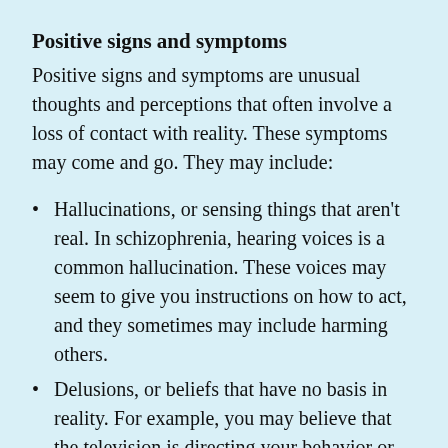Positive signs and symptoms
Positive signs and symptoms are unusual thoughts and perceptions that often involve a loss of contact with reality. These symptoms may come and go. They may include:
Hallucinations, or sensing things that aren't real. In schizophrenia, hearing voices is a common hallucination. These voices may seem to give you instructions on how to act, and they sometimes may include harming others.
Delusions, or beliefs that have no basis in reality. For example, you may believe that the television is directing your behavior or